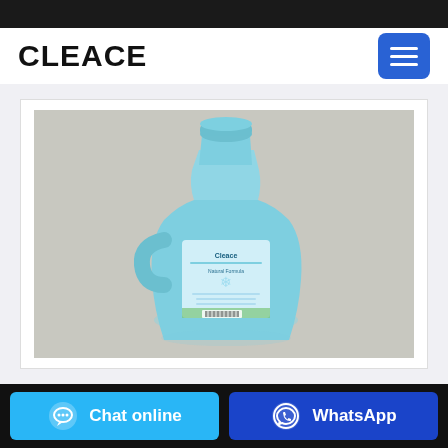CLEACE
[Figure (photo): A light blue plastic laundry detergent bottle (Cleace brand) with a handle, photographed from the back/side angle on a light gray background. The bottle has a blue label with text and a barcode at the bottom.]
Chat online
WhatsApp